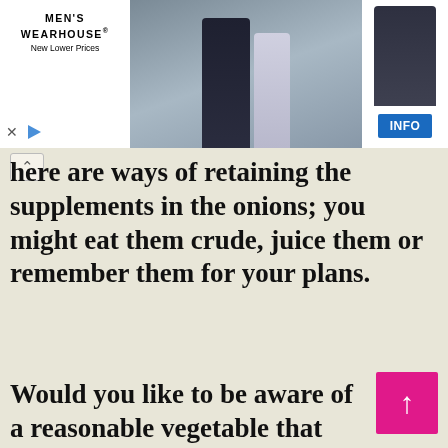[Figure (screenshot): Men's Wearhouse advertisement banner showing logo with 'New Lower Prices', wedding couple photo, single suited figure, INFO button, and ad controls (X and play icon)]
...here are ways of retaining the supplements in the onions; you might eat them crude, juice them or remember them for your plans.
Would you like to be aware of a reasonable vegetable that can save you from such countless persistent sicknesses and next to each other furnishes you with exceptional energy? Envision you can get a lot of multivitamins and minerals with a